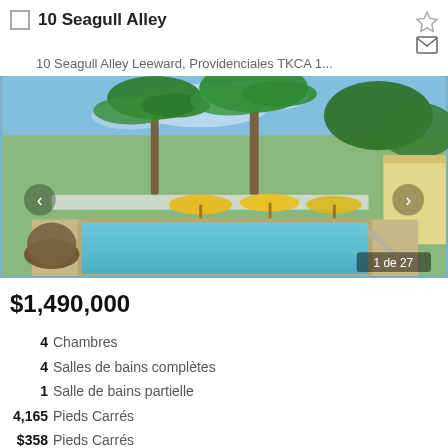10 Seagull Alley
10 Seagull Alley Leeward, Providenciales TKCA 1...
[Figure (photo): Outdoor pool area with yellow umbrellas, lounge chairs, palm trees and tropical vegetation surrounding a rectangular swimming pool with metal handrails. Navigation arrows on left and right sides. Counter showing '1 de 27' in bottom right.]
$1,490,000
4 Chambres
4 Salles de bains complètes
1 Salle de bains partielle
4,165 Pieds Carrés
$358 Pieds Carrés